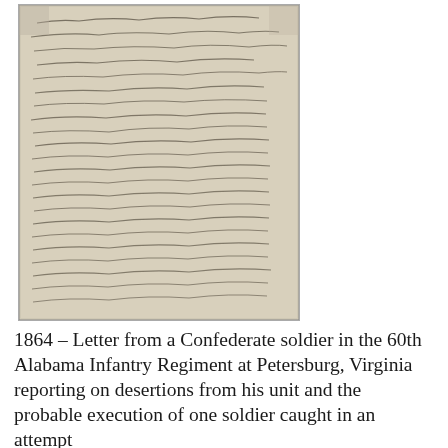[Figure (photo): Photograph of a handwritten letter from a Confederate soldier, showing cursive script on aged paper, dated 1864.]
1864 – Letter from a Confederate soldier in the 60th Alabama Infantry Regiment at Petersburg, Virginia reporting on desertions from his unit and the probable execution of one soldier caught in an attempt